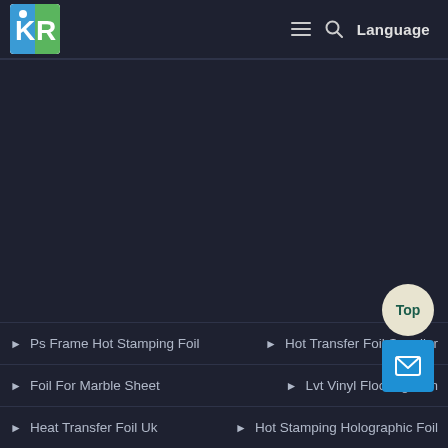[Figure (logo): Company logo with blue background and white/green KR letters]
≡  🔍  Language
▶ Ps Frame Hot Stamping Foil
▶ Hot Transfer Foil Supplier
▶ Foil For Marble Sheet
▶ Lvt Vinyl Flooring Film
▶ Heat Transfer Foil Uk
▶ Hot Stamping Holographic Foil